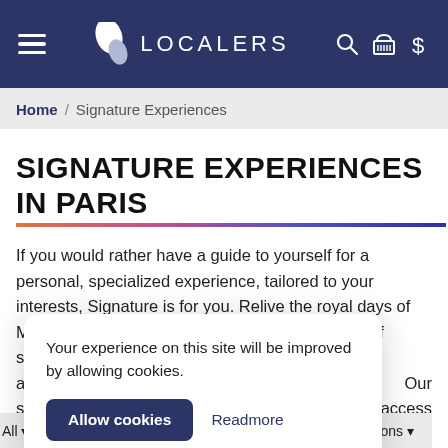LOCALERS
Home / Signature Experiences
SIGNATURE EXPERIENCES IN PARIS
If you would rather have a guide to yourself for a personal, specialized experience, tailored to your interests, Signature is for you. Relive the royal days of Marie Antoinette, or saunter through the centers of scandal of the city's past, all a... Our s... rly access r...
Your experience on this site will be improved by allowing cookies.
Allow cookies   Readmore
All ▾   Recommandations ▾